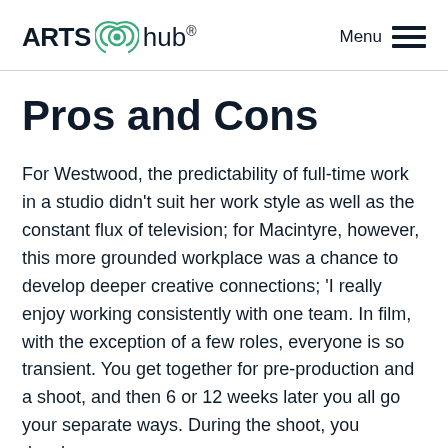ARTS hub® Menu
Pros and Cons
For Westwood, the predictability of full-time work in a studio didn't suit her work style as well as the constant flux of television; for Macintyre, however, this more grounded workplace was a chance to develop deeper creative connections; 'I really enjoy working consistently with one team. In film, with the exception of a few roles, everyone is so transient. You get together for pre-production and a shoot, and then 6 or 12 weeks later you all go your separate ways. During the shoot, you develop